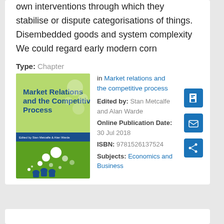own interventions through which they stabilise or dispute categorisations of things. Disembedded goods and system complexity We could regard early modern corn
Type: Chapter
[Figure (illustration): Book cover of 'Market Relations and the Competitive Process' edited by Stan Metcalfe and Alan Warde, green cover with white and dark circles and figures]
in Market relations and the competitive process
Edited by: Stan Metcalfe and Alan Warde
Online Publication Date: 30 Jul 2018
ISBN: 9781526137524
Subjects: Economics and Business